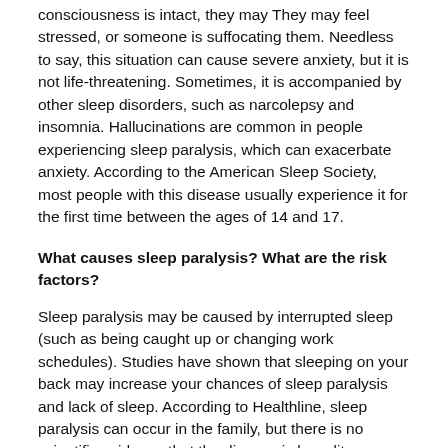consciousness is intact, they may They may feel stressed, or someone is suffocating them. Needless to say, this situation can cause severe anxiety, but it is not life-threatening. Sometimes, it is accompanied by other sleep disorders, such as narcolepsy and insomnia. Hallucinations are common in people experiencing sleep paralysis, which can exacerbate anxiety. According to the American Sleep Society, most people with this disease usually experience it for the first time between the ages of 14 and 17.
What causes sleep paralysis? What are the risk factors?
Sleep paralysis may be caused by interrupted sleep (such as being caught up or changing work schedules). Studies have shown that sleeping on your back may increase your chances of sleep paralysis and lack of sleep. According to Healthline, sleep paralysis can occur in the family, but there is no scientific evidence that the disease is hereditary. Some groups are at higher risk than others. For example, the following list includes groups considered to be highly likely to have sleep paralysis:
Insomnia